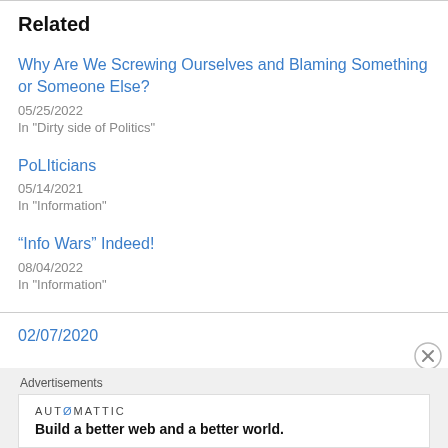Related
Why Are We Screwing Ourselves and Blaming Something or Someone Else?
05/25/2022
In "Dirty side of Politics"
PoLIticians
05/14/2021
In "Information"
“Info Wars” Indeed!
08/04/2022
In "Information"
02/07/2020
Advertisements
AUTØMATTIC
Build a better web and a better world.